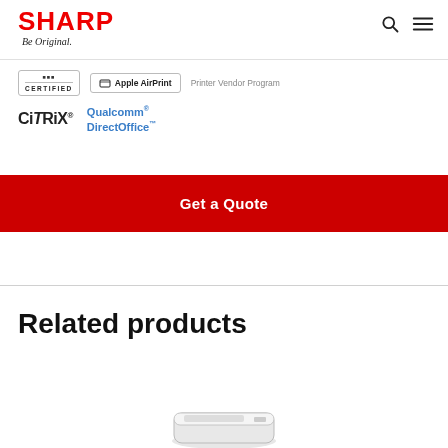SHARP — Be Original.
[Figure (logo): Certified badge, Apple AirPrint logo, Printer Vendor Program text, Citrix logo, Qualcomm DirectOffice logo]
Get a Quote
Related products
[Figure (photo): Sharp printer product image at the bottom of the page]